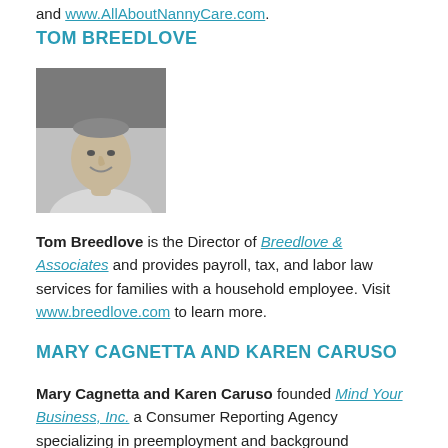and www.AllAboutNannyCare.com.
TOM BREEDLOVE
[Figure (photo): Black and white headshot photo of Tom Breedlove, a middle-aged man smiling, wearing a light colored shirt]
Tom Breedlove is the Director of Breedlove & Associates and provides payroll, tax, and labor law services for families with a household employee. Visit www.breedlove.com to learn more.
MARY CAGNETTA AND KAREN CARUSO
Mary Cagnetta and Karen Caruso founded Mind Your Business, Inc. a Consumer Reporting Agency specializing in preemployment and background screenings for